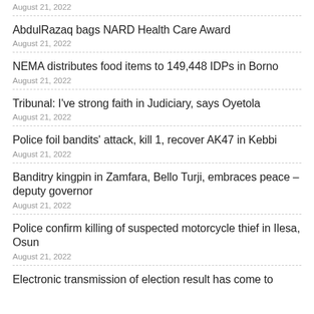August 21, 2022
AbdulRazaq bags NARD Health Care Award
August 21, 2022
NEMA distributes food items to 149,448 IDPs in Borno
August 21, 2022
Tribunal: I've strong faith in Judiciary, says Oyetola
August 21, 2022
Police foil bandits' attack, kill 1, recover AK47 in Kebbi
August 21, 2022
Banditry kingpin in Zamfara, Bello Turji, embraces peace – deputy governor
August 21, 2022
Police confirm killing of suspected motorcycle thief in Ilesa, Osun
August 21, 2022
Electronic transmission of election result has come to